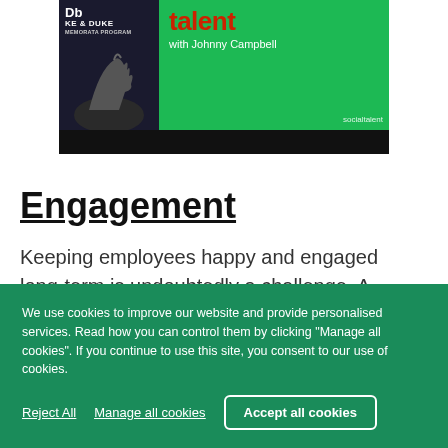[Figure (screenshot): Video thumbnail showing a presenter with 'Duke & Duke' branding on the left side and a green background with 'talent' title and 'with Johnny Campbell' text on the right. A black bar appears below the thumbnail.]
Engagement
Keeping employees happy and engaged long-term is undoubtedly a challenge. A recent Gallup report
We use cookies to improve our website and provide personalised services. Read how you can control them by clicking "Manage all cookies". If you continue to use this site, you consent to our use of cookies.
Reject All   Manage all cookies   Accept all cookies